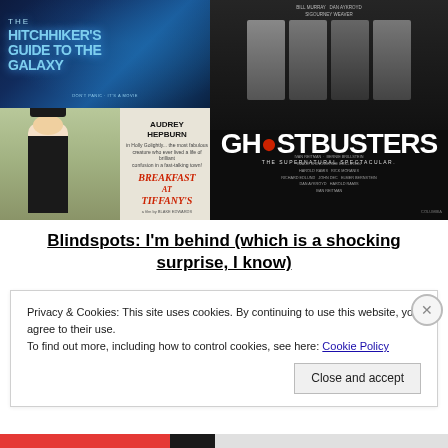[Figure (photo): Two movie posters on left: top is Hitchhiker's Guide to the Galaxy (blue sci-fi), bottom is Breakfast at Tiffany's with Audrey Hepburn. Right: Ghostbusters theatrical poster with Bill Murray, Dan Aykroyd, Sigourney Weaver, Harold Ramis, Rick Moranis. The Supernatural Spectacular.]
Blindspots: I’m behind (which is a shocking surprise, I know)
Privacy & Cookies: This site uses cookies. By continuing to use this website, you agree to their use.
To find out more, including how to control cookies, see here: Cookie Policy
Close and accept